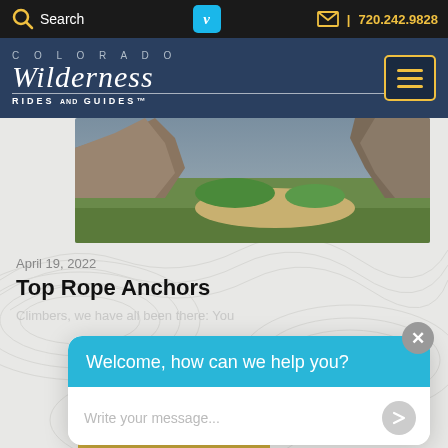Search | Vimeo | 720.242.9828
[Figure (logo): Colorado Wilderness Rides and Guides logo on dark blue navigation bar with hamburger menu icon]
[Figure (photo): Rock formation with green vegetation in background, hero image for Top Rope Anchors article]
April 19, 2022
Top Rope Anchors
Climbers, we have all been there: You
[Figure (screenshot): Chat widget popup with header 'Welcome, how can we help you?' and message input field saying 'Write your message...' with send button and close X button]
READ MORE